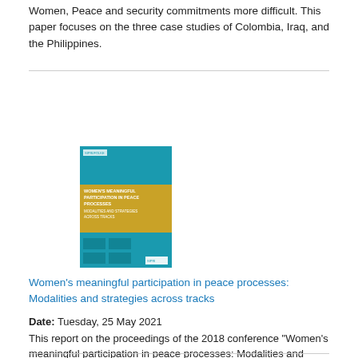Women, Peace and security commitments more difficult. This paper focuses on the three case studies of Colombia, Iraq, and the Philippines.
[Figure (illustration): Book cover with teal and yellow design reading 'Women's meaningful participation in peace processes: Modalities and strategies across tracks']
Women's meaningful participation in peace processes: Modalities and strategies across tracks
Date: Tuesday, 25 May 2021
This report on the proceedings of the 2018 conference "Women's meaningful participation in peace processes: Modalities and strategies across tracks", explores innovations, trends, and challenges in the interplay between official, high-level processes and unofficial processes in which civil society plays a leadership role.